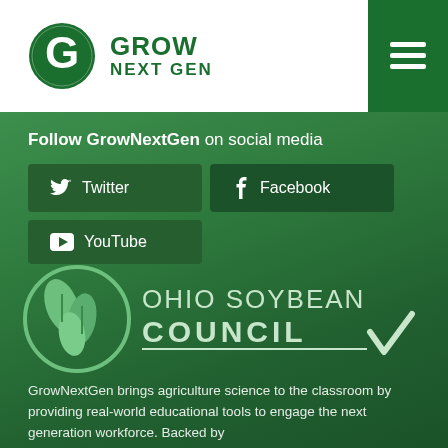[Figure (logo): GrowNextGen logo with circular maze-pattern G icon and green text reading GROW NEXT GEN]
Follow GrowNextGen on social media
Twitter
Facebook
YouTube
[Figure (logo): Ohio Soybean Council logo with soybean circle icon, text OHIO SOYBEAN COUNCIL and a checkmark]
GrowNextGen brings agriculture science to the classroom by providing real-world educational tools to engage the next generation workforce. Backed by